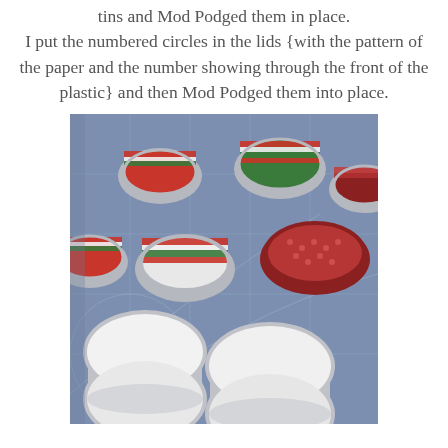tins and Mod Podged them in place. I put the numbered circles in the lids {with the pattern of the paper and the number showing through the front of the plastic} and then Mod Podged them into place.
[Figure (photo): Photo of multiple small round silver tins arranged on a blue cutting mat. The upper tins have colorful Christmas patterned paper (red, green, white stripes and dots) inside them, while the lower tins are open and empty showing white circles inside.]